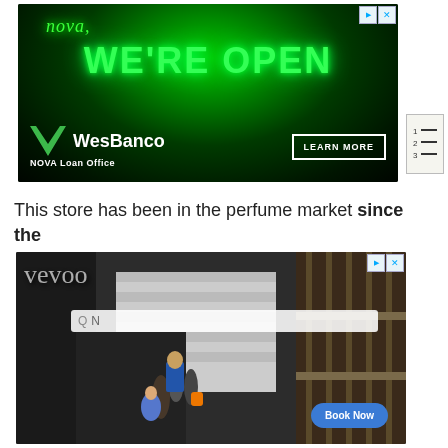[Figure (illustration): WesBanco advertisement with dark green neon background showing 'NOVA, WE'RE OPEN' in glowing neon letters, WesBanco logo with W chevron mark, and 'NOVA Loan Office' text, with a 'LEARN MORE' button. Ad control icons (play/close) in top right.]
[Figure (other): Numbered list icon showing 1, 2, 3 with horizontal lines beside each number, resembling a table of contents or ordered list icon.]
This store has been in the perfume market since the
[Figure (screenshot): Advertisement showing a scene with people outdoors near a car and wooden structure. 'vevoo' text appears in script font top left. A search bar with magnifying glass icon and 'Q N' text is visible in the center. A 'Book Now' button appears in the bottom right. Ad control icons (play/close) in top right.]